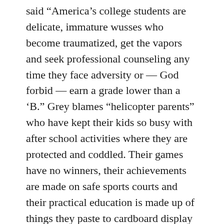said “America’s college students are delicate, immature wusses who become traumatized, get the vapors and seek professional counseling any time they face adversity or — God forbid — earn a grade lower than a ‘B.” Grey blames “helicopter parents” who have kept their kids so busy with after school activities where they are protected and coddled. Their games have no winners, their achievements are made on safe sports courts and their practical education is made up of things they paste to cardboard display boards in science classes.
The results of the 2016 election show that his ideas have merit as liberal college kids sought